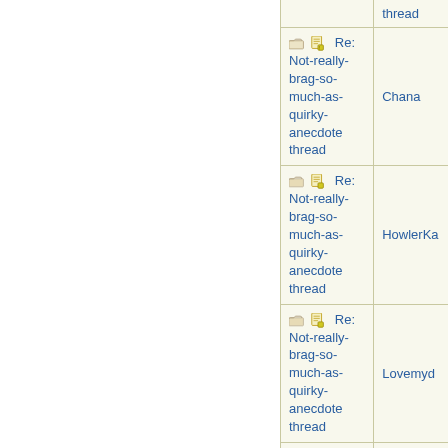| Thread | Author |
| --- | --- |
| Re: Not-really-brag-so-much-as-quirky-anecdote thread | thread |
| Re: Not-really-brag-so-much-as-quirky-anecdote thread | Chana |
| Re: Not-really-brag-so-much-as-quirky-anecdote thread | HowlerKa |
| Re: Not-really-brag-so-much-as-quirky-anecdote thread | Lovemyd |
| Re: Not-really-brag-so-much-as-quirky-anecdote thread | HowlerKa |
| Re: Not-really-brag-so-much-as-quirky-anecdote thread | aquinas |
| Re: Not-really-brag-so-much-as-quirky-anecdote thread | MumOfTh |
| Re: Not-... |  |